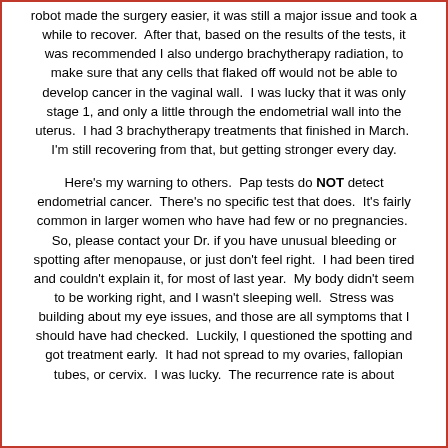robot made the surgery easier, it was still a major issue and took a while to recover.  After that, based on the results of the tests, it was recommended I also undergo brachytherapy radiation, to make sure that any cells that flaked off would not be able to develop cancer in the vaginal wall.  I was lucky that it was only stage 1, and only a little through the endometrial wall into the uterus.  I had 3 brachytherapy treatments that finished in March.  I'm still recovering from that, but getting stronger every day.
Here's my warning to others.  Pap tests do NOT detect endometrial cancer.  There's no specific test that does.  It's fairly common in larger women who have had few or no pregnancies.  So, please contact your Dr. if you have unusual bleeding or spotting after menopause, or just don't feel right.  I had been tired and couldn't explain it, for most of last year.  My body didn't seem to be working right, and I wasn't sleeping well.  Stress was building about my eye issues, and those are all symptoms that I should have had checked.  Luckily, I questioned the spotting and got treatment early.  It had not spread to my ovaries, fallopian tubes, or cervix.  I was lucky.  The recurrence rate is about